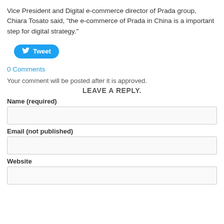Vice President and Digital e-commerce director of Prada group, Chiara Tosato said, “the e-commerce of Prada in China is a important step for digital strategy.”
[Figure (other): Twitter Tweet button (blue rounded button with bird icon and 'Tweet' label)]
0 Comments
Your comment will be posted after it is approved.
LEAVE A REPLY.
Name (required)
Email (not published)
Website